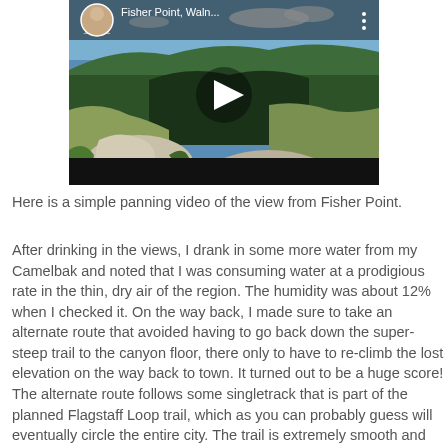[Figure (screenshot): Embedded video thumbnail showing a panoramic view from Fisher Point — canyon, forested hills, rocky outcroppings — with a white play button triangle overlay, a small circular avatar/profile image of a person in the top-left corner, the title 'Fisher Point, Waln...' and a three-dot menu icon at top. The bottom bar of the video player is black.]
Here is a simple panning video of the view from Fisher Point.
After drinking in the views, I drank in some more water from my Camelbak and noted that I was consuming water at a prodigious rate in the thin, dry air of the region. The humidity was about 12% when I checked it. On the way back, I made sure to take an alternate route that avoided having to go back down the super-steep trail to the canyon floor, there only to have to re-climb the lost elevation on the way back to town. It turned out to be a huge score! The alternate route follows some singletrack that is part of the planned Flagstaff Loop trail, which as you can probably guess will eventually circle the entire city. The trail is extremely smooth and